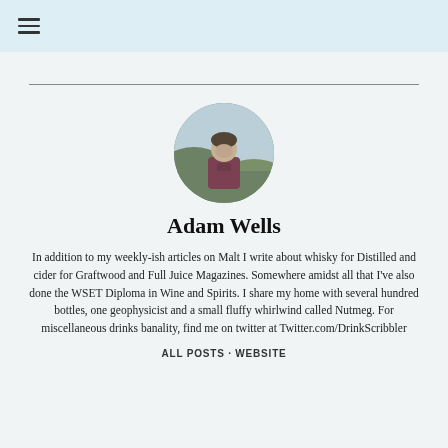☰ (hamburger menu icon)
[Figure (photo): Circular profile photo of Adam Wells, a person outdoors on a hillside wearing a dark red hoodie, with a misty landscape in the background.]
Adam Wells
In addition to my weekly-ish articles on Malt I write about whisky for Distilled and cider for Graftwood and Full Juice Magazines. Somewhere amidst all that I've also done the WSET Diploma in Wine and Spirits. I share my home with several hundred bottles, one geophysicist and a small fluffy whirlwind called Nutmeg. For miscellaneous drinks banality, find me on twitter at Twitter.com/DrinkScribbler
ALL POSTS · WEBSITE